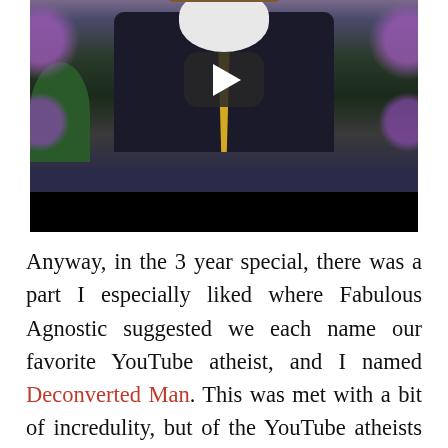[Figure (screenshot): YouTube video thumbnail showing a person in a black suit with a yellow tie, brown hat, blue gloves, and white face covering/mask. The person is holding the brim of their hat. A YouTube play button overlay is visible in the center of the image. The background shows a room with plants and decorative items. Decorative purple graphics appear on the edges of the image. The bottom portion of the video is black.]
Anyway, in the 3 year special, there was a part I especially liked where Fabulous Agnostic suggested we each name our favorite YouTube atheist, and I named Deconverted Man. This was met with a bit of incredulity, but of the YouTube atheists I've dealt with (excluding Arad, of